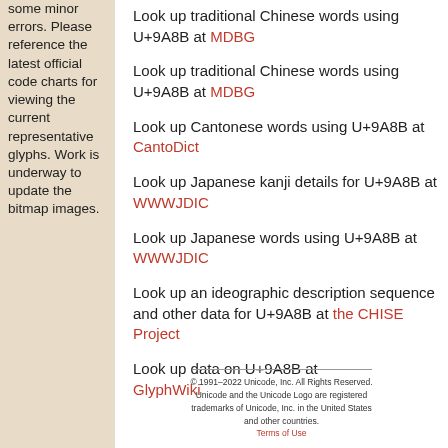some minor errors. Please reference the latest official code charts for viewing the current representative glyphs. Work is underway to update the bitmap images.
Look up traditional Chinese words using U+9A8B at MDBG
Look up Cantonese words using U+9A8B at CantoDict
Look up Japanese kanji details for U+9A8B at WWWJDIC
Look up Japanese words using U+9A8B at WWWJDIC
Look up an ideographic description sequence and other data for U+9A8B at the CHISE Project
Look up data on U+9A8B at GlyphWiki
© 1991–2022 Unicode, Inc. All Rights Reserved. Unicode and the Unicode Logo are registered trademarks of Unicode, Inc. in the United States and other countries. Terms of Use